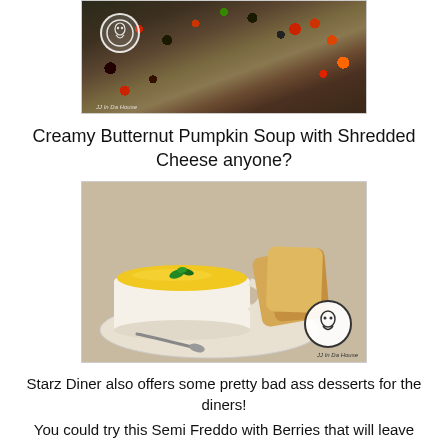[Figure (photo): Food photo showing bruschetta or toast topped with olives, tomatoes, and greens, with a restaurant logo watermark in the top left]
Creamy Butternut Pumpkin Soup with Shredded Cheese anyone?
[Figure (photo): Photo of a white cup of creamy yellow butternut pumpkin soup garnished with fresh herbs, served on a saucer with sliced bread, with JJ In Da House logo watermark]
Starz Diner also offers some pretty bad ass desserts for the diners!
You could try this Semi Freddo with Berries that will leave